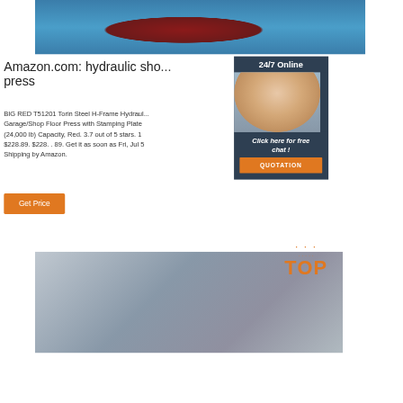[Figure (photo): Blue hydraulic shop press machine with red interior, viewed from above]
Amazon.com: hydraulic sho... press
BIG RED T51201 Torin Steel H-Frame Hydraul... Garage/Shop Floor Press with Stamping Plate (24,000 lb) Capacity, Red. 3.7 out of 5 stars. 1 $228.89. $228. . 89. Get it as soon as Fri, Jul 5 Shipping by Amazon.
[Figure (infographic): 24/7 Online chat panel with customer service agent photo and QUOTATION button]
Get Price
[Figure (photo): Industrial hydraulic equipment/machinery photo at bottom of page]
[Figure (logo): TOP badge logo with orange dots and text]